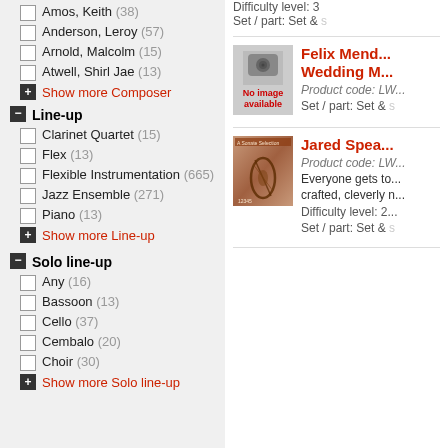Amos, Keith (38)
Anderson, Leroy (57)
Arnold, Malcolm (15)
Atwell, Shirl Jae (13)
+ Show more Composer
Line-up
Clarinet Quartet (15)
Flex (13)
Flexible Instrumentation (665)
Jazz Ensemble (271)
Piano (13)
+ Show more Line-up
Solo line-up
Any (16)
Bassoon (13)
Cello (37)
Cembalo (20)
Choir (30)
+ Show more Solo line-up
Difficulty level: 3
Set / part: Set & ...
[Figure (photo): No image available placeholder for Felix Mendelssohn Wedding March product]
Felix Mend... Wedding M...
Product code: LW...
Set / part: Set & ...
[Figure (photo): Book cover for Jared Spear product with violin imagery]
Jared Spea...
Product code: LW...
Everyone gets to... crafted, cleverly n...
Difficulty level: 2...
Set / part: Set & ...